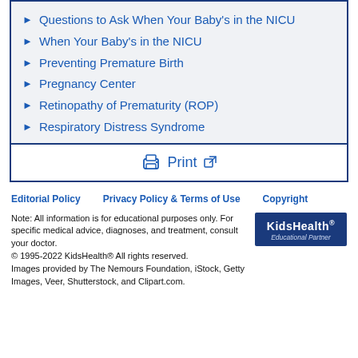Questions to Ask When Your Baby's in the NICU
When Your Baby's in the NICU
Preventing Premature Birth
Pregnancy Center
Retinopathy of Prematurity (ROP)
Respiratory Distress Syndrome
Print
Editorial Policy   Privacy Policy & Terms of Use   Copyright
Note: All information is for educational purposes only. For specific medical advice, diagnoses, and treatment, consult your doctor.
© 1995-2022 KidsHealth® All rights reserved.
Images provided by The Nemours Foundation, iStock, Getty Images, Veer, Shutterstock, and Clipart.com.